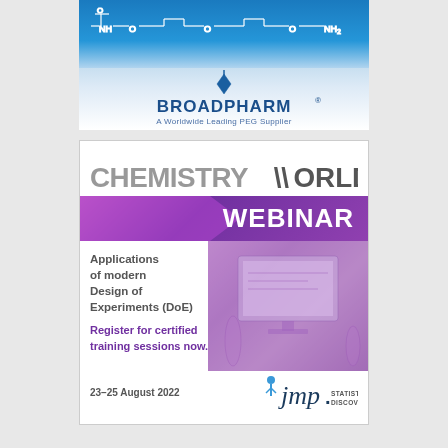[Figure (logo): BroadPharm logo with blue gradient background showing a PEG chemical structure at the top, a diamond logo mark, the bold text BROADPHARM with registered trademark, and tagline 'A Worldwide Leading PEG Supplier']
[Figure (infographic): Chemistry World Webinar advertisement. Title 'CHEMISTRY WORLD' in gray/dark, purple 'WEBINAR' banner. Text: 'Applications of modern Design of Experiments (DoE)' and 'Register for certified training sessions now.' Date: '23-25 August 2022'. JMP Statistical Discovery logo at bottom right.]